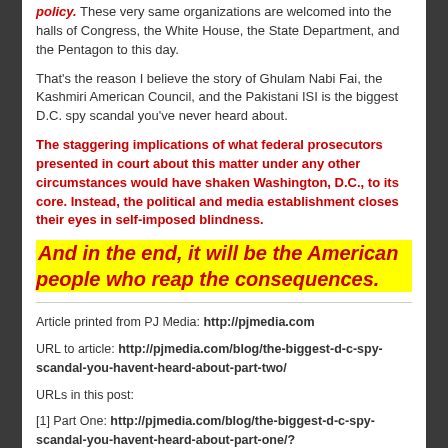policy. These very same organizations are welcomed into the halls of Congress, the White House, the State Department, and the Pentagon to this day.
That's the reason I believe the story of Ghulam Nabi Fai, the Kashmiri American Council, and the Pakistani ISI is the biggest D.C. spy scandal you've never heard about.
The staggering implications of what federal prosecutors presented in court about this matter under any other circumstances would have shaken Washington, D.C., to its core. Instead, the political and media establishment closes their eyes in self-imposed blindness.
And in the end, it will be the American people who reap the consequences.
Article printed from PJ Media: http://pjmedia.com
URL to article: http://pjmedia.com/blog/the-biggest-d-c-spy-scandal-you-havent-heard-about-part-two/
URLs in this post:
[1] Part One: http://pjmedia.com/blog/the-biggest-d-c-spy-scandal-you-havent-heard-about-part-one/?